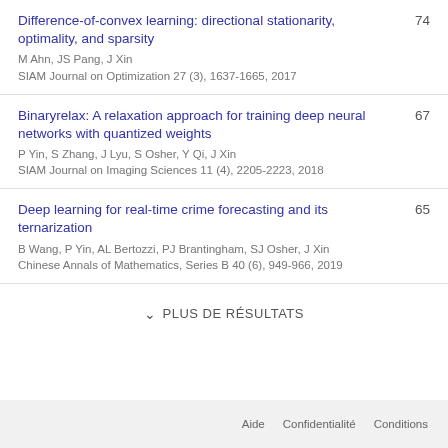Difference-of-convex learning: directional stationarity, optimality, and sparsity
M Ahn, JS Pang, J Xin
SIAM Journal on Optimization 27 (3), 1637-1665, 2017
74
Binaryrelax: A relaxation approach for training deep neural networks with quantized weights
P Yin, S Zhang, J Lyu, S Osher, Y Qi, J Xin
SIAM Journal on Imaging Sciences 11 (4), 2205-2223, 2018
67
Deep learning for real-time crime forecasting and its ternarization
B Wang, P Yin, AL Bertozzi, PJ Brantingham, SJ Osher, J Xin
Chinese Annals of Mathematics, Series B 40 (6), 949-966, 2019
65
PLUS DE RÉSULTATS
Aide   Confidentialité   Conditions